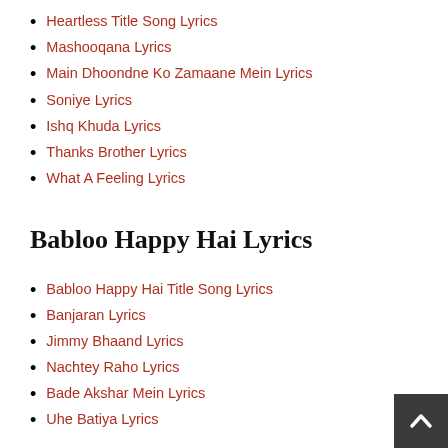Heartless Title Song Lyrics
Mashooqana Lyrics
Main Dhoondne Ko Zamaane Mein Lyrics
Soniye Lyrics
Ishq Khuda Lyrics
Thanks Brother Lyrics
What A Feeling Lyrics
Babloo Happy Hai Lyrics
Babloo Happy Hai Title Song Lyrics
Banjaran Lyrics
Jimmy Bhaand Lyrics
Nachtey Raho Lyrics
Bade Akshar Mein Lyrics
Uhe Batiya Lyrics
One By Two Lyrics
Ishq Ki Khushfehmiyan Lyrics